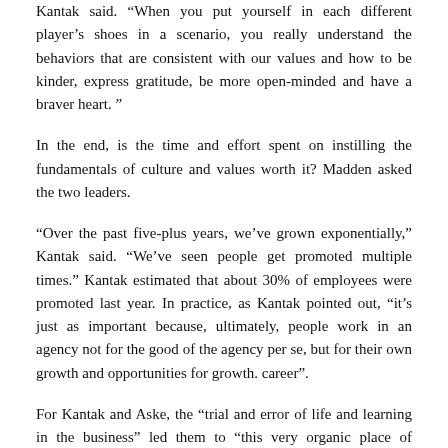Kantak said. "When you put yourself in each different player's shoes in a scenario, you really understand the behaviors that are consistent with our values and how to be kinder, express gratitude, be more open-minded and have a braver heart. "
In the end, is the time and effort spent on instilling the fundamentals of culture and values worth it? Madden asked the two leaders.
“Over the past five-plus years, we’ve grown exponentially,” Kantak said. “We’ve seen people get promoted multiple times.” Kantak estimated that about 30% of employees were promoted last year. In practice, as Kantak pointed out, “it’s just as important because, ultimately, people work in an agency not for the good of the agency per se, but for their own growth and opportunities for growth. career”.
For Kantak and Aske, the “trial and error of life and learning in the business” led them to “this very organic place of creating a space that allows everyone to be heard”.
We asked ourselves, “What if we own this place? In what environment would we like to work? recalls Kantak. “There’s definitely an element of